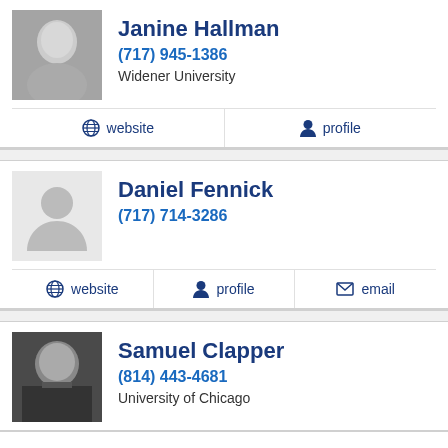Janine Hallman
(717) 945-1386
Widener University
website | profile
Daniel Fennick
(717) 714-3286
website | profile | email
Samuel Clapper
(814) 443-4681
University of Chicago